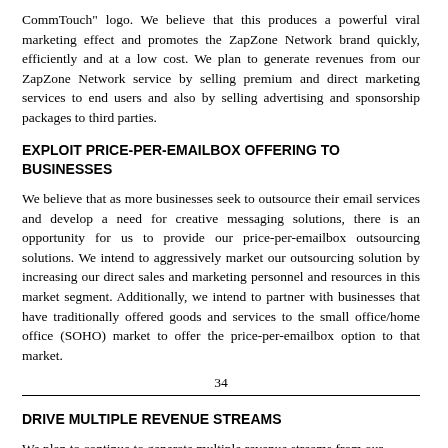CommTouch" logo. We believe that this produces a powerful viral marketing effect and promotes the ZapZone Network brand quickly, efficiently and at a low cost. We plan to generate revenues from our ZapZone Network service by selling premium and direct marketing services to end users and also by selling advertising and sponsorship packages to third parties.
EXPLOIT PRICE-PER-EMAILBOX OFFERING TO BUSINESSES
We believe that as more businesses seek to outsource their email services and develop a need for creative messaging solutions, there is an opportunity for us to provide our price-per-emailbox outsourcing solutions. We intend to aggressively market our outsourcing solution by increasing our direct sales and marketing personnel and resources in this market segment. Additionally, we intend to partner with businesses that have traditionally offered goods and services to the small office/home office (SOHO) market to offer the price-per-emailbox option to that market.
34
DRIVE MULTIPLE REVENUE STREAMS
We plan to continue to generate multiple revenue streams from our